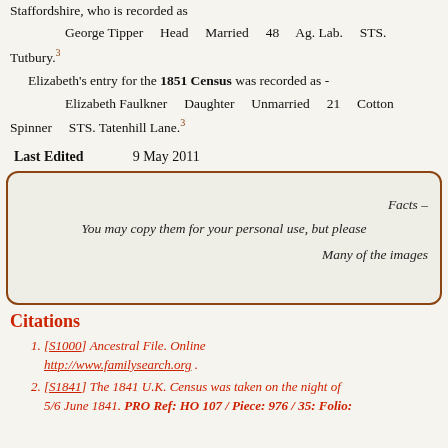Staffordshire, who is recorded as
George Tipper  Head  Married  48  Ag. Lab.  STS. Tutbury.3
Elizabeth's entry for the 1851 Census was recorded as - Elizabeth Faulkner  Daughter  Unmarried  21  Cotton Spinner  STS. Tatenhill Lane.3
Last Edited  9 May 2011
Facts – You may copy them for your personal use, but please  Many of the images
Citations
[S1000] Ancestral File. Online http://www.familysearch.org .
[S1841] The 1841 U.K. Census was taken on the night of 5/6 June 1841. PRO Ref: HO 107 / Piece: 976 / 35: Folio: